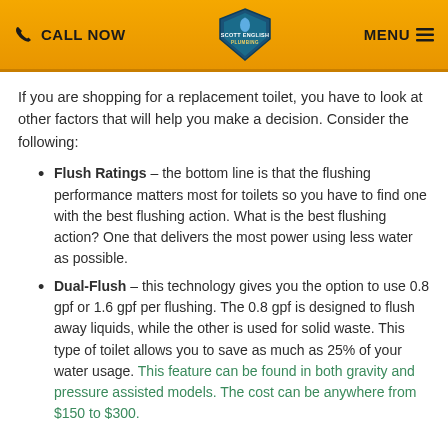CALL NOW | SCOTT ENGLISH PLUMBING | MENU
If you are shopping for a replacement toilet, you have to look at other factors that will help you make a decision. Consider the following:
Flush Ratings – the bottom line is that the flushing performance matters most for toilets so you have to find one with the best flushing action. What is the best flushing action? One that delivers the most power using less water as possible.
Dual-Flush – this technology gives you the option to use 0.8 gpf or 1.6 gpf per flushing. The 0.8 gpf is designed to flush away liquids, while the other is used for solid waste. This type of toilet allows you to save as much as 25% of your water usage. This feature can be found in both gravity and pressure assisted models. The cost can be anywhere from $150 to $300.